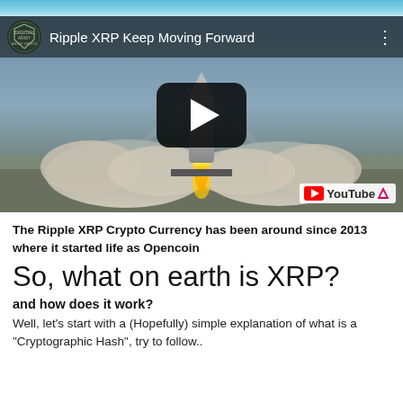[Figure (screenshot): YouTube video thumbnail showing a rocket launch with the title 'Ripple XRP Keep Moving Forward' and a channel logo. A play button is centered over the image. YouTube logo/badge is in the bottom right corner.]
The Ripple XRP Crypto Currency has been around since 2013 where it started life as Opencoin
So, what on earth is XRP?
and how does it work?
Well, let's start with a (Hopefully) simple explanation of what is a "Cryptographic Hash", try to follow..